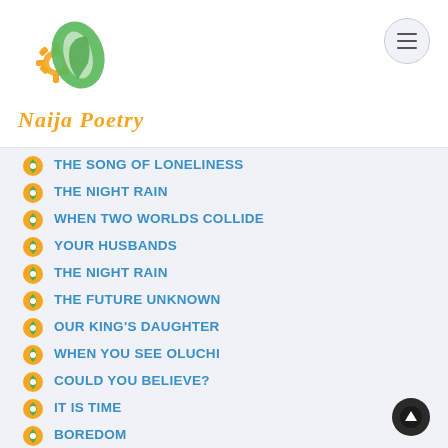Naija Poetry
THE SONG OF LONELINESS
THE NIGHT RAIN
WHEN TWO WORLDS COLLIDE
YOUR HUSBANDS
THE NIGHT RAIN
THE FUTURE UNKNOWN
OUR KING'S DAUGHTER
WHEN YOU SEE OLUCHI
COULD YOU BELIEVE?
IT IS TIME
BOREDOM
THE TALE OF YARI AND THE SPIRITS (I)
MURDER IN THE CATHEDRAL (To Owo Victims)
OUR WORLD, OUR PAIN, OUR REMEDY
Your Vote Counts
FUNNY THING ABOUT LIFE
The Trials Of Jethro
TOMORROW CAN ONLY WISH US WELL